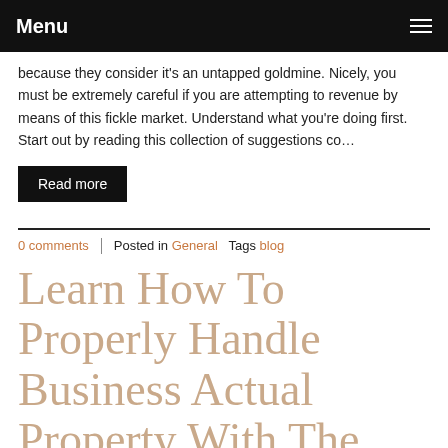Menu
because they consider it's an untapped goldmine. Nicely, you must be extremely careful if you are attempting to revenue by means of this fickle market. Understand what you're doing first. Start out by reading this collection of suggestions co…
Read more
0 comments  |  Posted in General  Tags blog
Learn How To Properly Handle Business Actual Property With The